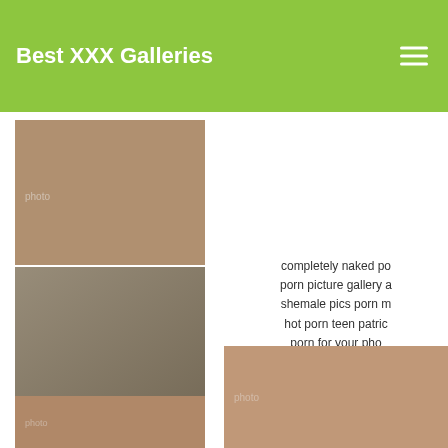Best XXX Galleries
[Figure (photo): Two women photo collage]
[Figure (photo): Two women with blue and blonde hair]
[Figure (logo): MY BDSM GF logo on black background]
[Figure (photo): Partial photo at bottom left]
completely naked po porn picture gallery a shemale pics porn m hot porn teen patric porn for your pho
Permalink Two Girls P Voyeur, One Aft
[Figure (photo): Portrait photo bottom right]